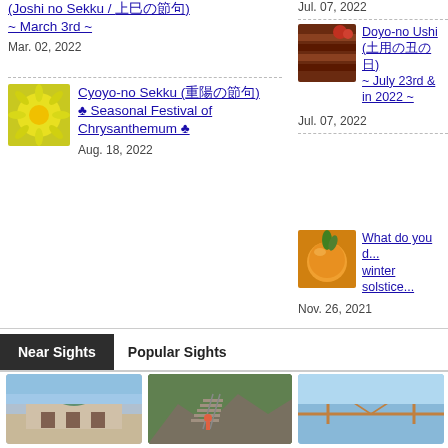(Joshi no Sekku / 上巳の節句) ~ March 3rd ~
Mar. 02, 2022
[Figure (photo): Yellow chrysanthemum flower close-up]
Cyoyo-no Sekku (重陽の節句) ♣ Seasonal Festival of Chrysanthemum ♣
Aug. 18, 2022
Doyo-no Ushi (土用の丑の日) ~ July 23rd & in 2022 ~
Jul. 07, 2022
[Figure (photo): Grilled eel food dish with tomatoes]
Doyo-no Ushi (土用の丑の日) ~ July 23rd & in 2022 ~
Jul. 07, 2022
[Figure (photo): Orange/yuzu citrus fruit]
What do you do at the winter solstice...
Nov. 26, 2021
Near Sights
Popular Sights
[Figure (photo): Building with green roof, museum or public building]
[Figure (photo): Rocky steps/stairs outdoors with person climbing]
[Figure (photo): Aerial or elevated view with blue sky]